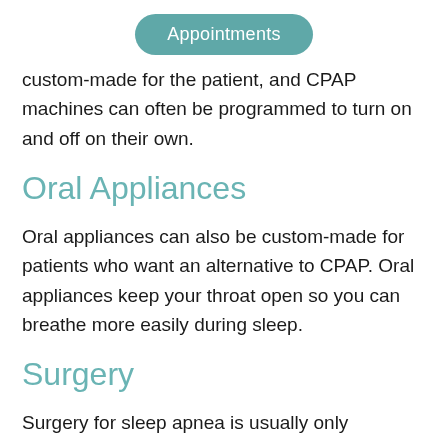[Figure (other): Appointments button - teal rounded pill button with white text]
custom-made for the patient, and CPAP machines can often be programmed to turn on and off on their own.
Oral Appliances
Oral appliances can also be custom-made for patients who want an alternative to CPAP. Oral appliances keep your throat open so you can breathe more easily during sleep.
Surgery
Surgery for sleep apnea is usually only